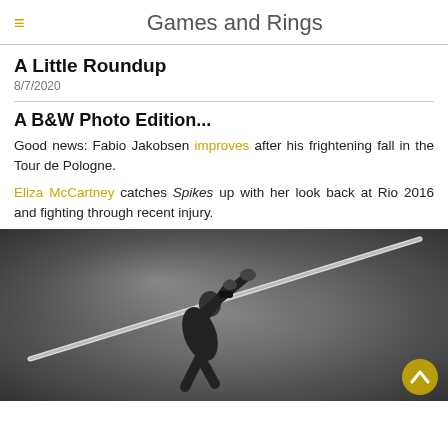Games and Rings
A Little Roundup
8/7/2020
A B&W Photo Edition...
Good news: Fabio Jakobsen improves after his frightening fall in the Tour de Pologne.
Eliza McCartney catches Spikes up with her look back at Rio 2016 and fighting through recent injury.
[Figure (photo): Black and white photo of a pole vaulter gripping the pole, arms raised, with a blurred crowd in the background. A golden scroll-to-top button is visible in the bottom right corner.]